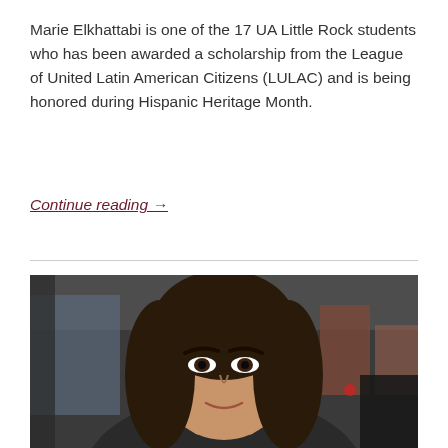Marie Elkhattabi is one of the 17 UA Little Rock students who has been awarded a scholarship from the League of United Latin American Citizens (LULAC) and is being honored during Hispanic Heritage Month.
Continue reading →
[Figure (photo): A young woman with long dark hair taking a selfie inside a car. The interior of the car is visible including the seat, door, and roof. Through the window, an outdoor scene is partially visible.]